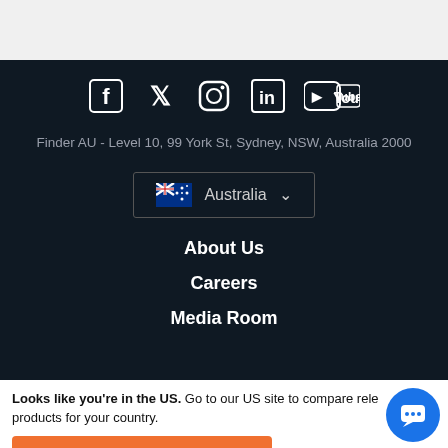[Figure (other): Social media icons: Facebook, Twitter, Instagram, LinkedIn, YouTube displayed in white on dark background]
Finder AU -  Level 10, 99 York St, Sydney, NSW, Australia 2000
[Figure (other): Country selector dropdown showing Australian flag and 'Australia' with chevron]
About Us
Careers
Media Room
Looks like you're in the US. Go to our US site to compare relevant products for your country.
Go to Finder US
No, stay on this page